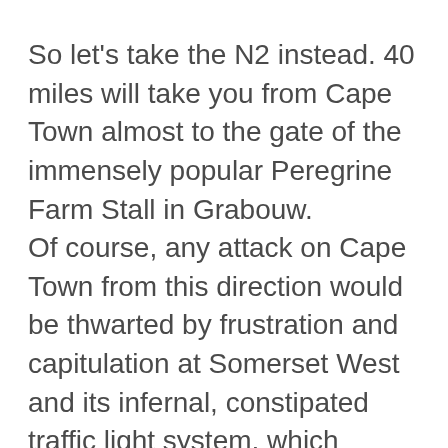So let's take the N2 instead. 40 miles will take you from Cape Town almost to the gate of the immensely popular Peregrine Farm Stall in Grabouw. Of course, any attack on Cape Town from this direction would be thwarted by frustration and capitulation at Somerset West and its infernal, constipated traffic light system, which probably explains why the Russians have chosen to come in from the North.